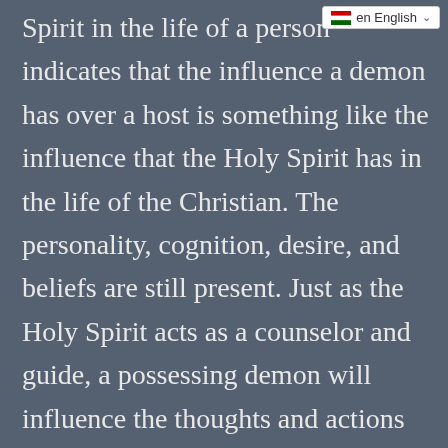en English
Spirit in the life of a person indicates that the influence a demon has over a host is something like the influence that the Holy Spirit has in the life of the Christian. The personality, cognition, desire, and beliefs are still present. Just as the Holy Spirit acts as a counselor and guide, a possessing demon will influence the thoughts and actions of a person-perhaps even endowing the person with some type of seemingly supernatural qualities. While the Holy Spirit’s purpose is to exalt Christ and glorify the Father, a